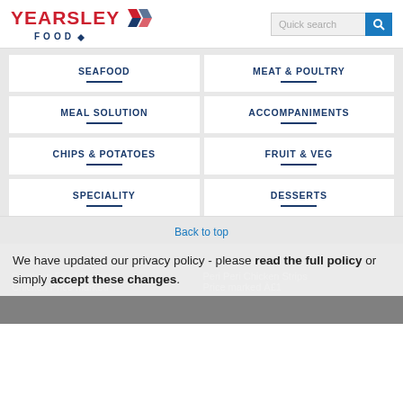YEARSLEY FOOD — Quick search
SEAFOOD
MEAT & POULTRY
MEAL SOLUTION
ACCOMPANIMENTS
CHIPS & POTATOES
FRUIT & VEG
SPECIALITY
DESSERTS
Back to top
We have updated our privacy policy - please read the full policy or simply accept these changes.
Southern Fried Popcorn Chicken Price marked
Peri Peri Chicken Strips Price marked £1